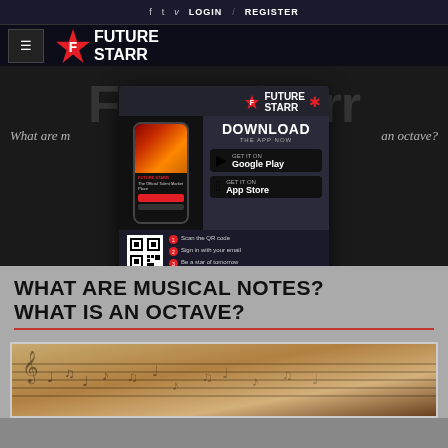f  twitter  v  LOGIN  /  REGISTER
[Figure (logo): FutureStarr logo with hamburger menu icon and star emblem]
[Figure (infographic): FutureStarr app advertisement popup showing download CTA, Google Play and App Store buttons, QR code, and steps to register. URL: www.futurestarr.com]
What are musical notes? What is an octave?
WHAT ARE MUSICAL NOTES? WHAT IS AN OCTAVE?
[Figure (photo): Sheet music pages with musical notes, warm brown/golden color tone]